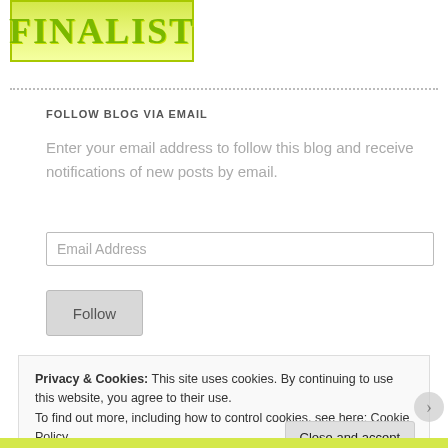[Figure (illustration): Green gradient box with bold 'FINALIST' text in yellow-green color]
FOLLOW BLOG VIA EMAIL
Enter your email address to follow this blog and receive notifications of new posts by email.
Email Address
Follow
Privacy & Cookies: This site uses cookies. By continuing to use this website, you agree to their use.
To find out more, including how to control cookies, see here: Cookie Policy
Close and accept